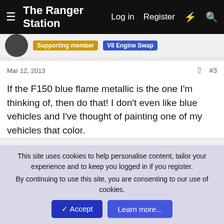The Ranger Station — Log in  Register
Mar 12, 2013  #3
If the F150 blue flame metallic is the one I'm thinking of, then do that! I don't even like blue vehicles and I've thought of painting one of my vehicles that color.
farmer — Active Member  V8 Engine Swap
Mar 12, 2013  #4
97RangerXLT said: ↑
This site uses cookies to help personalise content, tailor your experience and to keep you logged in if you register.
By continuing to use this site, you are consenting to our use of cookies.